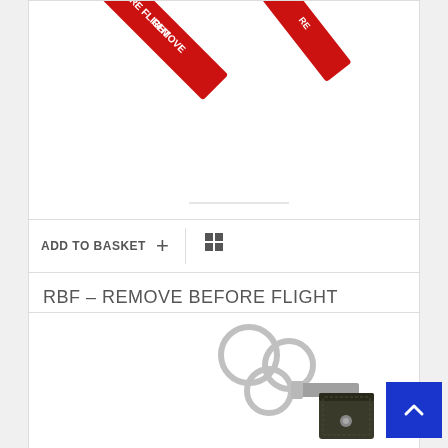[Figure (photo): Red 'Remove Before Flight' key tags on white background]
ADD TO BASKET  +  ⊞
RBF – REMOVE BEFORE FLIGHT
€3.22
☆ ☆ ☆ ☆ ☆
[Figure (photo): Metal keyring with olive/black leather fob]